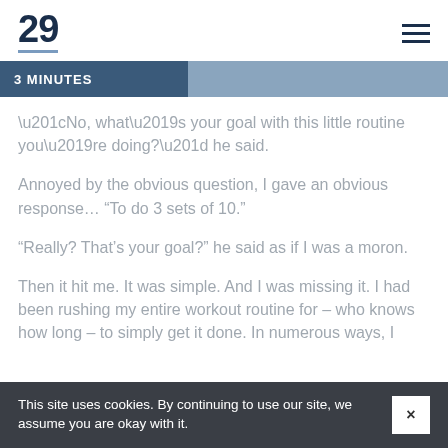29
3 MINUTES
“No, what’s your goal with this little routine you’re doing?” he said.
Annoyed by the obvious question, I gave an obvious response… “To do 3 sets of 10.”
“Really? That’s your goal?” he said as if I was a moron.
Then it hit me. It was simple. And I was missing it. I had been rushing my entire workout routine for – who knows how long – to simply get it done. In numerous ways, I
This site uses cookies. By continuing to use our site, we assume you are okay with it.